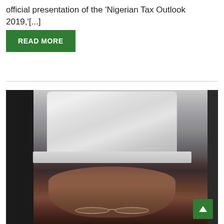official presentation of the 'Nigerian Tax Outlook 2019,'[...]
READ MORE
[Figure (photo): Portrait photo of a Nigerian official wearing a white traditional cap (fila/kufi) and glasses, viewed from the shoulders up against a dark background.]